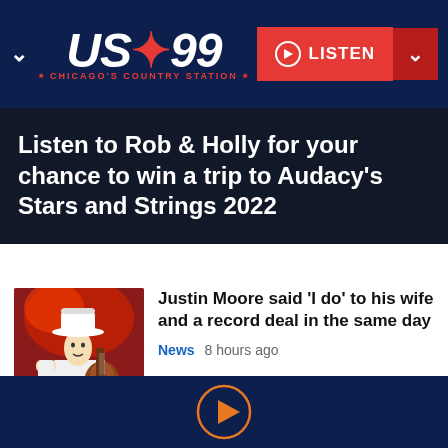US 99 • CHICAGO'S COUNTRY STATION • LISTEN
Listen to Rob & Holly for your chance to win a trip to Audacy's Stars and Strings 2022
[Figure (photo): Country music performer wearing white cowboy hat and white shirt, holding an acoustic guitar on stage with red lighting backdrop]
Justin Moore said 'I do' to his wife and a record deal in the same day
News  8 hours ago
[Figure (other): Orange circular play button icon on dark navy background — audio player control bar]